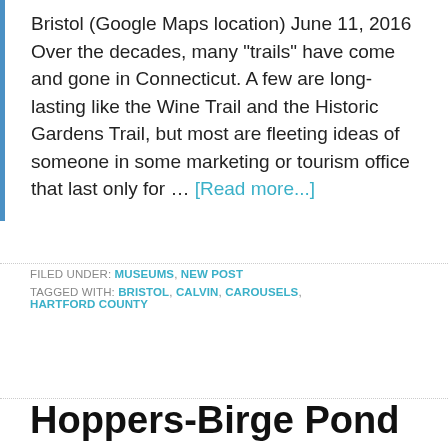Bristol (Google Maps location) June 11, 2016 Over the decades, many "trails" have come and gone in Connecticut. A few are long-lasting like the Wine Trail and the Historic Gardens Trail, but most are fleeting ideas of someone in some marketing or tourism office that last only for ... [Read more...]
FILED UNDER: MUSEUMS, NEW POST
TAGGED WITH: BRISTOL, CALVIN, CAROUSELS, HARTFORD COUNTY
Hoppers-Birge Pond Nature Preserve